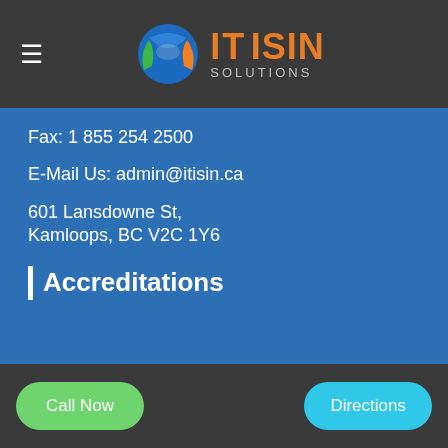IT ISIN SOLUTIONS (logo and navigation header)
Fax: 1 855 254 2500
E-Mail Us: admin@itisin.ca
601 Lansdowne St,
Kamloops, BC V2C 1Y6
| Accreditations
Call Now   Directions